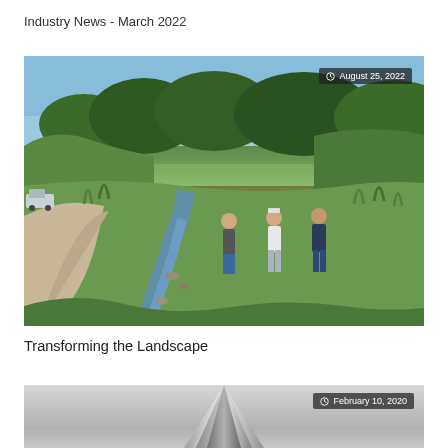Industry News - March 2022
[Figure (photo): Three men standing and talking near a small stream with rocky banks, lush green vegetation on both sides, trees in background, gravel road and truck visible on left, taken outdoors on a sunny day. Date badge: August 25, 2022]
Transforming the Landscape
[Figure (photo): Close-up of a metallic conical/pointed object (possibly a bullet or machined metal part) against a gray background. Date badge: February 10, 2020]